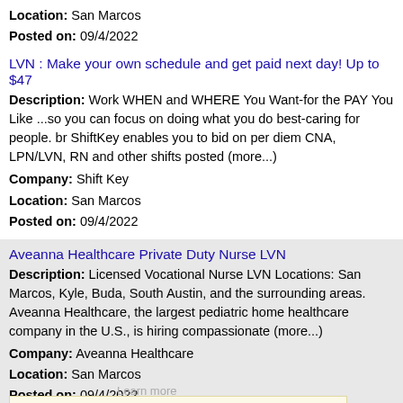Location: San Marcos
Posted on: 09/4/2022
LVN : Make your own schedule and get paid next day! Up to $47
Description: Work WHEN and WHERE You Want-for the PAY You Like ...so you can focus on doing what you do best-caring for people. br ShiftKey enables you to bid on per diem CNA, LPN/LVN, RN and other shifts posted (more...)
Company: Shift Key
Location: San Marcos
Posted on: 09/4/2022
Aveanna Healthcare Private Duty Nurse LVN
Description: Licensed Vocational Nurse LVN Locations: San Marcos, Kyle, Buda, South Austin, and the surrounding areas. Aveanna Healthcare, the largest pediatric home healthcare company in the U.S., is hiring compassionate (more...)
Company: Aveanna Healthcare
Location: San Marcos
Posted on: 09/4/2022
Home Dialysis Registered Nurse - RN - Dialysis
Description: Home Dialysis Registered Nurse RN by Fresenius